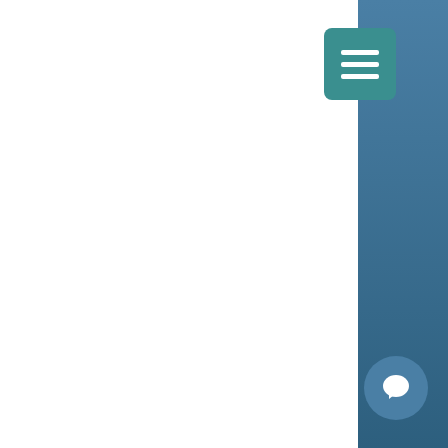It is our policy to post any changes we make to our privacy policy on this page. If we make material changes to how we treat our users' personal information, will notify you. The date the privacy policy was last revised is identified at the top of the page. You are responsible for ensuring we have an up-to-date active and deliverable email address for you, and for periodically visiting our Website and this privacy policy to check for any changes. If High Tide Boat & Yacht Rental, Inc. is acquired or merged with another company, your information may be transferred to the new owners in order to continue to contact you.
1. Contact Information
To ask questions, comment about this privacy policy and our privacy practices or to submit a complaint, contact us at:
egallo@skyllc.com
970 Joe Walker Road Sunbury, OH 43071 or via our phone number: 1 (800) 284-